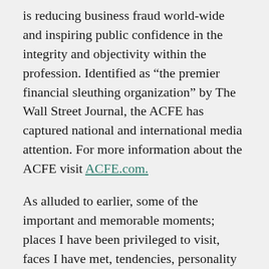is reducing business fraud world-wide and inspiring public confidence in the integrity and objectivity within the profession. Identified as “the premier financial sleuthing organization” by The Wall Street Journal, the ACFE has captured national and international media attention. For more information about the ACFE visit ACFE.com.
As alluded to earlier, some of the important and memorable moments; places I have been privileged to visit, faces I have met, tendencies, personality and characters of different people I have had to encounter, from both the professional and social perspective, looped in sweeping, concise narratives have been as a result of friends, colleagues, family, bosses who have played significant role in my life.
For the first encounter of any kind, be it a new life...